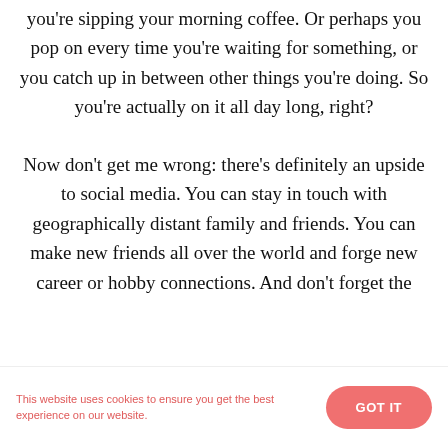you're sipping your morning coffee. Or perhaps you pop on every time you're waiting for something, or you catch up in between other things you're doing. So you're actually on it all day long, right?
Now don't get me wrong: there's definitely an upside to social media. You can stay in touch with geographically distant family and friends. You can make new friends all over the world and forge new career or hobby connections. And don't forget the
This website uses cookies to ensure you get the best experience on our website.